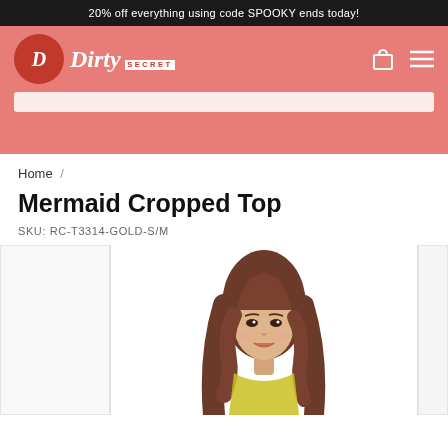20% off everything using code SPOOKY ends today!
[Figure (logo): Dirty Secret brand logo with red circle and cursive script text]
Home /
Mermaid Cropped Top
SKU: RC-T3314-Gold-S/M
[Figure (photo): Female model with long brown wavy hair wearing a mermaid cropped top, photo cropped from torso up]